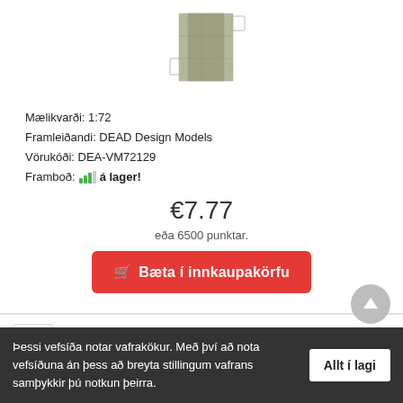[Figure (photo): Product image of a 1:72 scale model set, showing a rectangular olive-green/tan colored shape with scale marking '1' and '72' visible]
Mælikvarði: 1:72
Framleiðandi: DEAD Design Models
Vörukóði: DEA-VM72129
Framboð: [bar icon] á lager!
€7.77
eða 6500 punktar.
🛒 Bæta í innkaupakörfu
Ki-44 Shoki Nat. Ins. w/ o white outline
[Figure (photo): Product image for Ki-44 Shoki National Insignia without white outline, 1:72 scale, showing packaging artwork with Japanese aircraft silhouette and red roundel]
Þessi vefsíða notar vafrakökur. Með því að nota vefsíðuna án þess að breyta stillingum vafrans samþykkir þú notkun þeirra.
Allt í lagi